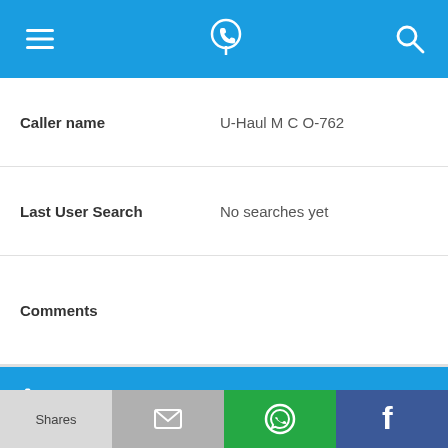[Figure (screenshot): Top navigation bar with hamburger menu icon, phone/location icon, and search icon on blue background]
| Caller name | U-Haul M C O-762 |
| Last User Search | No searches yet |
| Comments |  |
256-259-0389
| Alternate Form | 2562590389 |
| Caller name | Taco Bell |
| Last User Search | No searches yet |
[Figure (screenshot): Bottom share bar with Shares, email, WhatsApp, and Facebook buttons]